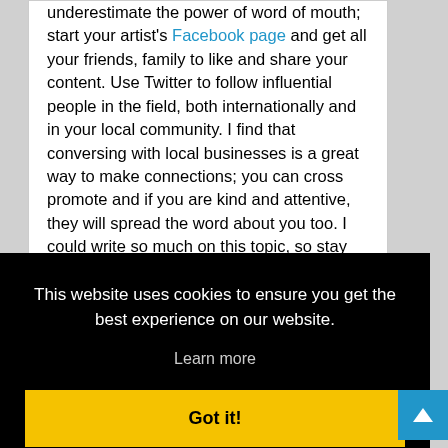underestimate the power of word of mouth; start your artist's Facebook page and get all your friends, family to like and share your content. Use Twitter to follow influential people in the field, both internationally and in your local community. I find that conversing with local businesses is a great way to make connections; you can cross promote and if you are kind and attentive, they will spread the word about you too. I could write so much on this topic, so stay tuned for a full article on Art Pro by me!
This website uses cookies to ensure you get the best experience on our website.
Learn more
Got it!